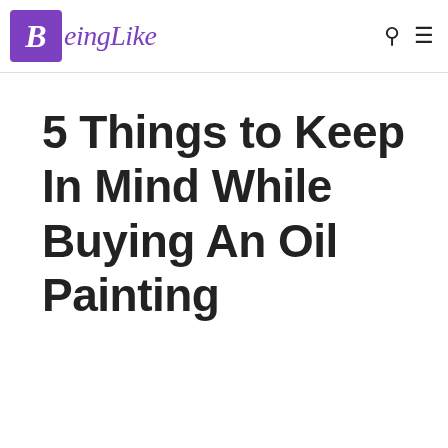BeingLike
5 Things to Keep In Mind While Buying An Oil Painting